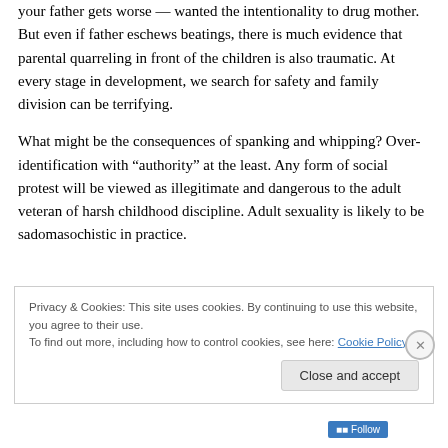your father gets worse — wanted the intentionality to drug mother. But even if father eschews beatings, there is much evidence that parental quarreling in front of the children is also traumatic. At every stage in development, we search for safety and family division can be terrifying.
What might be the consequences of spanking and whipping? Over-identification with “authority” at the least. Any form of social protest will be viewed as illegitimate and dangerous to the adult veteran of harsh childhood discipline. Adult sexuality is likely to be sadomasochistic in practice.
Privacy & Cookies: This site uses cookies. By continuing to use this website, you agree to their use.
To find out more, including how to control cookies, see here: Cookie Policy